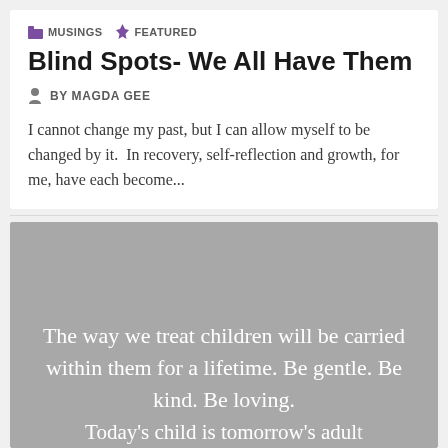MUSINGS   FEATURED
Blind Spots- We All Have Them
BY MAGDA GEE
I cannot change my past, but I can allow myself to be changed by it.  In recovery, self-reflection and growth, for me, have each become...
[Figure (illustration): Gray background image card with white serif text reading: 'The way we treat children will be carried within them for a lifetime. Be gentle. Be kind. Be loving. Today's child is tomorrow's adult' (partially cut off)]